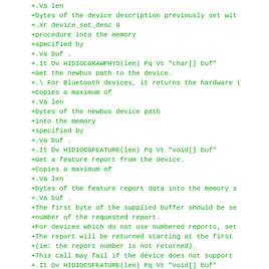+.Va len
+bytes of the device description previously set wit
+.Xr device_set_desc 9
+procedure into the memory
+specified by
+.Va buf .
+.It Dv HIDIOCGRAWPHYS(len) Pq Vt "char[] buf"
+Get the newbus path to the device.
+.\For Bluetooth devices, it returns the hardware (
+Copies a maximum of
+.Va len
+bytes of the newbus device path
+into the memory
+specified by
+.Va buf .
+.It Dv HIDIOCGFEATURE(len) Pq Vt "void[] buf"
+Get a feature report from the device.
+Copies a maximum of
+.Va len
+bytes of the feature report data into the memory s
+.Va buf .
+The first byte of the supplied buffer should be se
+number of the requested report.
+For devices which do not use numbered reports, set
+The report will be returned starting at the first
+(ie: the report number is not returned).
+This call may fail if the device does not support
+.It Dv HIDIOCSFEATURE(len) Pq Vt "void[] buf"
+Set a feature Report in the device.
+The value of the report is specified by the
+.Va buf .